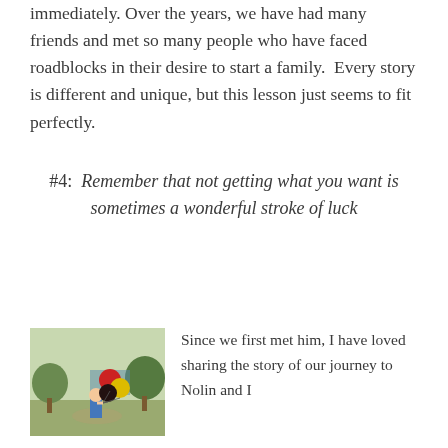immediately.  Over the years, we have had many friends and met so many people who have faced roadblocks in their desire to start a family.  Every story is different and unique, but this lesson just seems to fit perfectly.
#4:  Remember that not getting what you want is sometimes a wonderful stroke of luck
[Figure (photo): A young child standing outdoors holding large red, yellow, and black balloons near a park or playground area with trees in the background.]
Since we first met him, I have loved sharing the story of our journey to Nolin and I